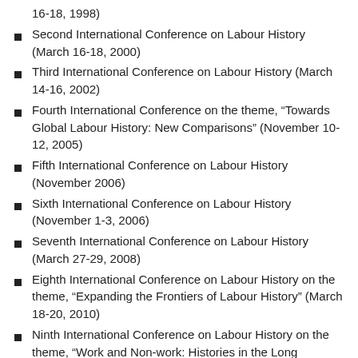16-18, 1998)
Second International Conference on Labour History (March 16-18, 2000)
Third International Conference on Labour History (March 14-16, 2002)
Fourth International Conference on the theme, “Towards Global Labour History: New Comparisons” (November 10-12, 2005)
Fifth International Conference on Labour History (November 2006)
Sixth International Conference on Labour History (November 1-3, 2006)
Seventh International Conference on Labour History (March 27-29, 2008)
Eighth International Conference on Labour History on the theme, “Expanding the Frontiers of Labour History” (March 18-20, 2010)
Ninth International Conference on Labour History on the theme, “Work and Non-work: Histories in the Long